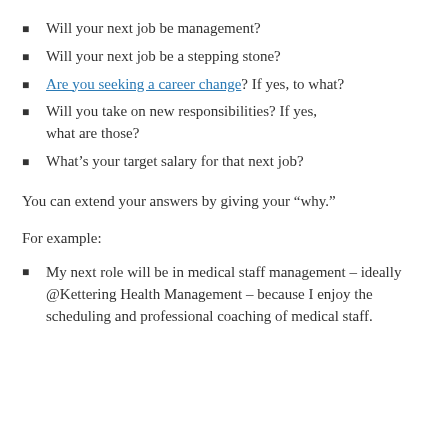Will your next job be management?
Will your next job be a stepping stone?
Are you seeking a career change? If yes, to what?
Will you take on new responsibilities? If yes, what are those?
What's your target salary for that next job?
You can extend your answers by giving your “why.”
For example:
My next role will be in medical staff management – ideally @Kettering Health Management – because I enjoy the scheduling and professional coaching of medical staff.